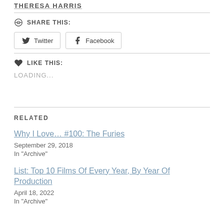THERESA HARRIS
SHARE THIS:
Twitter
Facebook
LIKE THIS:
LOADING...
RELATED
Why I Love... #100: The Furies
September 29, 2018
In "Archive"
List: Top 10 Films Of Every Year, By Year Of Production
April 18, 2022
In "Archive"